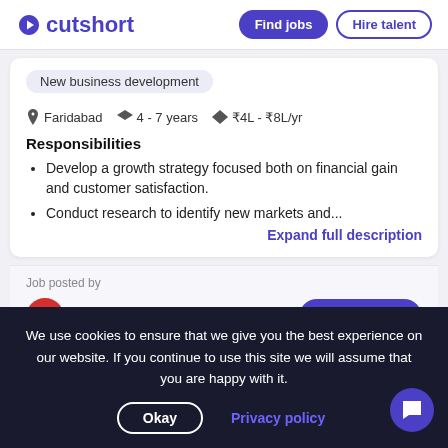cutshort | Find jobs | Hire talent
New business development
Faridabad   4 - 7 years   ₹4L - ₹8L/yr
Responsibilities
Develop a growth strategy focused both on financial gain and customer satisfaction.
Conduct research to identify new markets and...
Expand full description
Job posted by
manisha bhatia
apply to job
We use cookies to ensure that we give you the best experience on our website. If you continue to use this site we will assume that you are happy with it.
Okay
Privacy policy